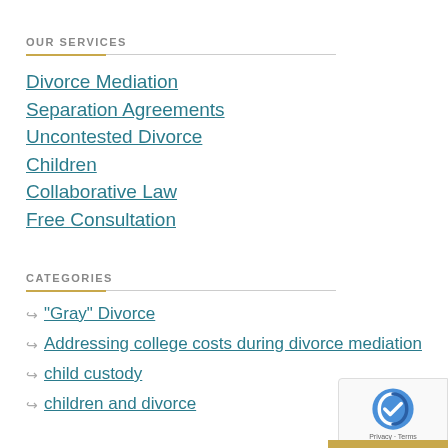OUR SERVICES
Divorce Mediation
Separation Agreements
Uncontested Divorce
Children
Collaborative Law
Free Consultation
CATEGORIES
"Gray" Divorce
Addressing college costs during divorce mediation
child custody
children and divorce